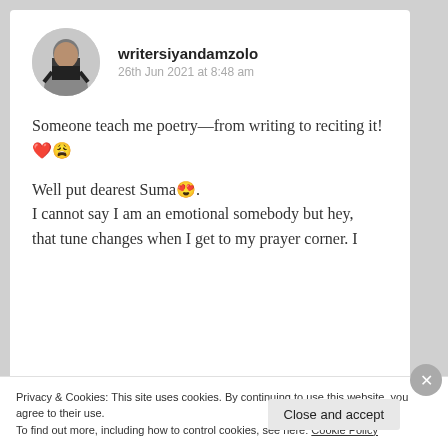writersiyandamzolo
26th Jun 2021 at 8:48 am
Someone teach me poetry—from writing to reciting it!❤️😩
Well put dearest Suma😍.
I cannot say I am an emotional somebody but hey,
that tune changes when I get to my prayer corner. I
Privacy & Cookies: This site uses cookies. By continuing to use this website, you agree to their use.
To find out more, including how to control cookies, see here: Cookie Policy
Close and accept